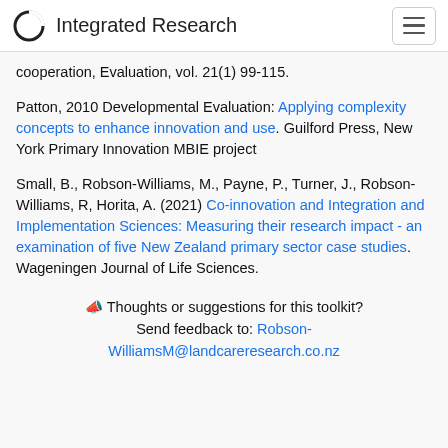Integrated Research
cooperation, Evaluation, vol. 21(1) 99-115.
Patton, 2010 Developmental Evaluation: Applying complexity concepts to enhance innovation and use. Guilford Press, New York Primary Innovation MBIE project
Small, B., Robson-Williams, M., Payne, P., Turner, J., Robson-Williams, R, Horita, A. (2021) Co-innovation and Integration and Implementation Sciences: Measuring their research impact - an examination of five New Zealand primary sector case studies. Wageningen Journal of Life Sciences.
Thoughts or suggestions for this toolkit? Send feedback to: Robson-WilliamsM@landcareresearch.co.nz